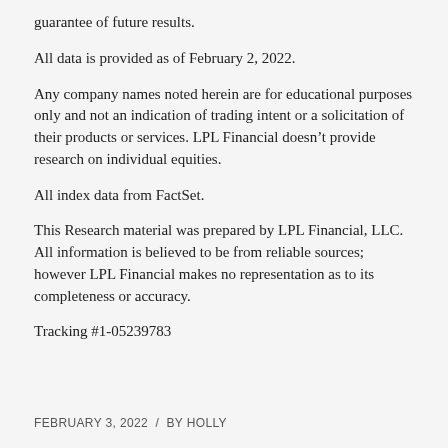guarantee of future results.
All data is provided as of February 2, 2022.
Any company names noted herein are for educational purposes only and not an indication of trading intent or a solicitation of their products or services. LPL Financial doesn’t provide research on individual equities.
All index data from FactSet.
This Research material was prepared by LPL Financial, LLC. All information is believed to be from reliable sources; however LPL Financial makes no representation as to its completeness or accuracy.
Tracking #1-05239783
FEBRUARY 3, 2022  /  BY HOLLY